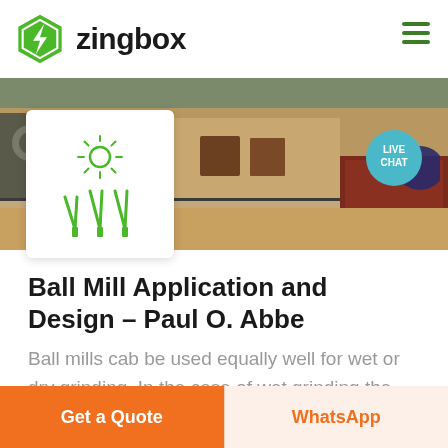zingbox
[Figure (screenshot): Industrial facility outdoor scene with machinery, pipes, and equipment visible. Below it an icon card showing a sun/spark icon and three angled signal/antenna icons in green on white background.]
Ball Mill Application and Design - Paul O. Abbe
Ball mills cab be used equally well for wet or dry grinding. In the case of wet grinding the particles are
Get a Quote | WhatsApp